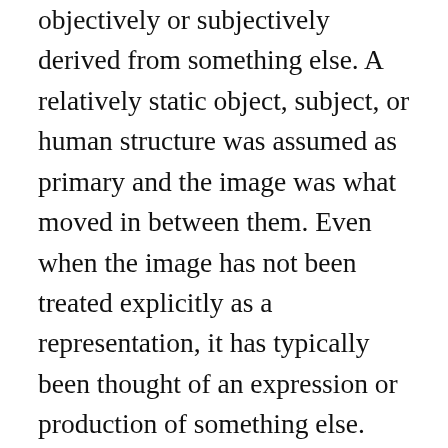objectively or subjectively derived from something else. A relatively static object, subject, or human structure was assumed as primary and the image was what moved in between them. Even when the image has not been treated explicitly as a representation, it has typically been thought of an expression or production of something else. Even contemporary theories of images as a copy of copies or copies without originals, still miss the point. The image is not a copy and there was never a model to have gone missing. In contrast to these previous theories, this book proposes a new definition of the image as a reflection, a duplication, or a fold